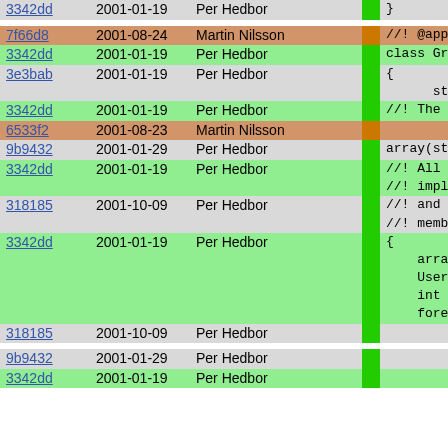| Hash | Date | Author |  | Code |
| --- | --- | --- | --- | --- |
| 3342dd | 2001-01-19 | Per Hedbor |  | } |
| 7f66d8 | 2001-08-24 | Martin Nilsson |  | //! @appea |
| 3342dd | 2001-01-19 | Per Hedbor |  | class Grou |
| 3e3bab | 2001-01-19 | Per Hedbor |  | {  string n |
| 3342dd | 2001-01-19 | Per Hedbor |  | //! The |
| 6533f2 | 2001-08-23 | Martin Nilsson |  |  |
| 9b9432 | 2001-01-29 | Per Hedbor |  | array(st |
| 3342dd | 2001-01-19 | Per Hedbor |  | //! All  //! impl |
| 318185 | 2001-10-09 | Per Hedbor |  | //! and  //! memb |
| 3342dd | 2001-01-19 | Per Hedbor |  | {  array  User u  int id  foreac |
| 318185 | 2001-10-09 | Per Hedbor |  | if( |
| 9b9432 | 2001-01-29 | Per Hedbor |  | re |
| 3342dd | 2001-01-19 | Per Hedbor |  | return |